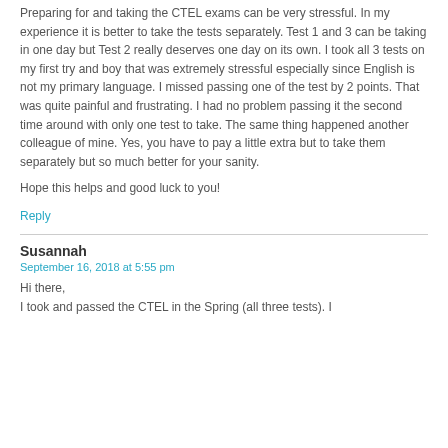Preparing for and taking the CTEL exams can be very stressful. In my experience it is better to take the tests separately. Test 1 and 3 can be taking in one day but Test 2 really deserves one day on its own. I took all 3 tests on my first try and boy that was extremely stressful especially since English is not my primary language. I missed passing one of the test by 2 points. That was quite painful and frustrating. I had no problem passing it the second time around with only one test to take. The same thing happened another colleague of mine. Yes, you have to pay a little extra but to take them separately but so much better for your sanity.
Hope this helps and good luck to you!
Reply
Susannah
September 16, 2018 at 5:55 pm
Hi there,
I took and passed the CTEL in the Spring (all three tests). I